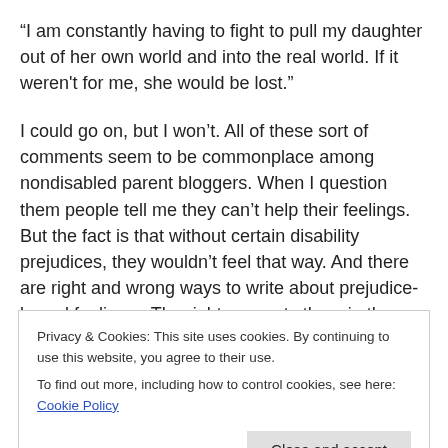“I am constantly having to fight to pull my daughter out of her own world and into the real world. If it weren't for me, she would be lost.”
I could go on, but I won’t. All of these sort of comments seem to be commonplace among nondisabled parent bloggers. When I question them people tell me they can’t help their feelings. But the fact is that without certain disability prejudices, they wouldn’t feel that way. And there are right and wrong ways to write about prejudice-based feelings. The right way puts them in the context of ableism
Privacy & Cookies: This site uses cookies. By continuing to use this website, you agree to their use.
To find out more, including how to control cookies, see here: Cookie Policy
Close and accept
The next thing to note is not all of us would do better